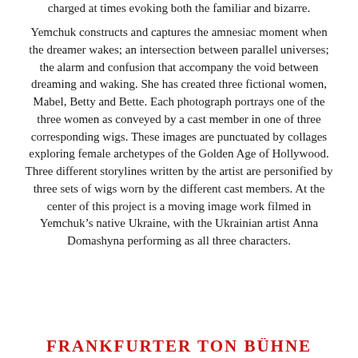charged at times evoking both the familiar and bizarre.
Yemchuk constructs and captures the amnesiac moment when the dreamer wakes; an intersection between parallel universes; the alarm and confusion that accompany the void between dreaming and waking. She has created three fictional women, Mabel, Betty and Bette. Each photograph portrays one of the three women as conveyed by a cast member in one of three corresponding wigs. These images are punctuated by collages exploring female archetypes of the Golden Age of Hollywood. Three different storylines written by the artist are personified by three sets of wigs worn by the different cast members. At the center of this project is a moving image work filmed in Yemchuk’s native Ukraine, with the Ukrainian artist Anna Domashyna performing as all three characters.
FRANKFURTER TON BÜHNE